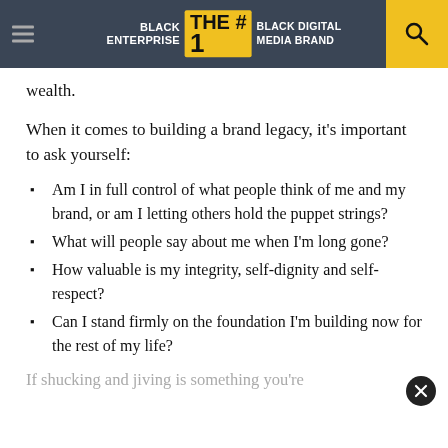BLACK ENTERPRISE THE #1 BLACK DIGITAL MEDIA BRAND
wealth.
When it comes to building a brand legacy, it’s important to ask yourself:
Am I in full control of what people think of me and my brand, or am I letting others hold the puppet strings?
What will people say about me when I’m long gone?
How valuable is my integrity, self-dignity and self-respect?
Can I stand firmly on the foundation I’m building now for the rest of my life?
If shucking and jiving is something you’re